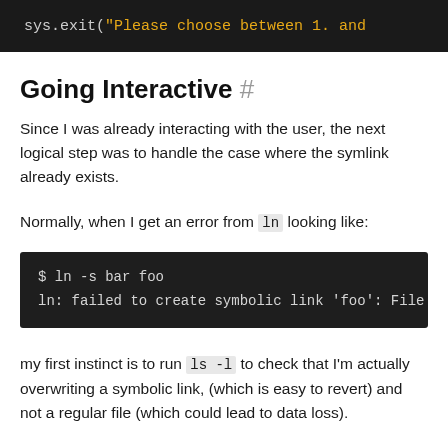[Figure (screenshot): Dark code block showing: sys.exit("Please choose between 1. and]
Going Interactive #
Since I was already interacting with the user, the next logical step was to handle the case where the symlink already exists.
Normally, when I get an error from ln looking like:
[Figure (screenshot): Dark terminal code block showing:
$ ln -s bar foo
ln: failed to create symbolic link 'foo': File]
my first instinct is to run ls -l to check that I'm actually overwriting a symbolic link, (which is easy to revert) and not a regular file (which could lead to data loss).